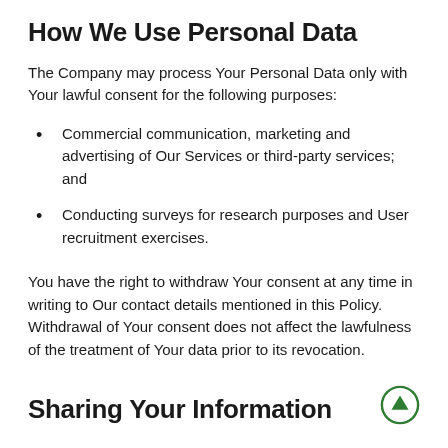How We Use Personal Data
The Company may process Your Personal Data only with Your lawful consent for the following purposes:
Commercial communication, marketing and advertising of Our Services or third-party services; and
Conducting surveys for research purposes and User recruitment exercises.
You have the right to withdraw Your consent at any time in writing to Our contact details mentioned in this Policy. Withdrawal of Your consent does not affect the lawfulness of the treatment of Your data prior to its revocation.
Sharing Your Information